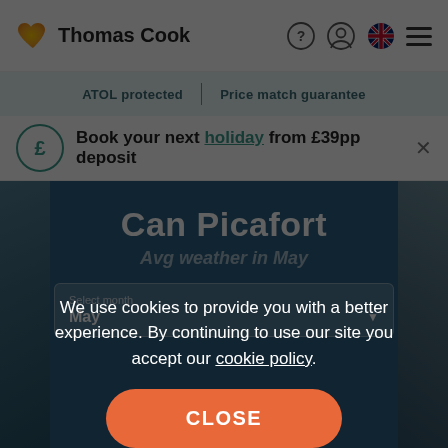Thomas Cook
ATOL protected | Price match guarantee
Book your next holiday from £39pp deposit
Can Picafort
Avg weather in May
Select month
May
We use cookies to provide you with a better experience. By continuing to use our site you accept our cookie policy.
CLOSE